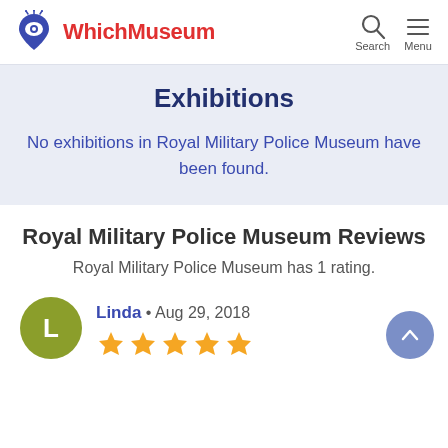WhichMuseum — Search, Menu
Exhibitions
No exhibitions in Royal Military Police Museum have been found.
Royal Military Police Museum Reviews
Royal Military Police Museum has 1 rating.
Linda • Aug 29, 2018